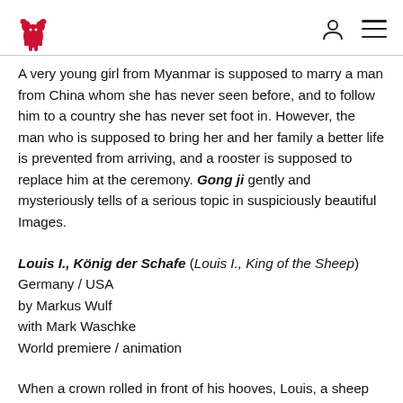[Berlinale logo] [user icon] [menu icon]
A very young girl from Myanmar is supposed to marry a man from China whom she has never seen before, and to follow him to a country she has never set foot in. However, the man who is supposed to bring her and her family a better life is prevented from arriving, and a rooster is supposed to replace him at the ceremony. Gong ji gently and mysteriously tells of a serious topic in suspiciously beautiful Images.
Louis I., König der Schafe (Louis I., King of the Sheep)
Germany / USA
by Markus Wulf
with Mark Waschke
World premiere / animation
When a crown rolled in front of his hooves, Louis, a sheep among sheep, became the sheep among his own kind. To reign...